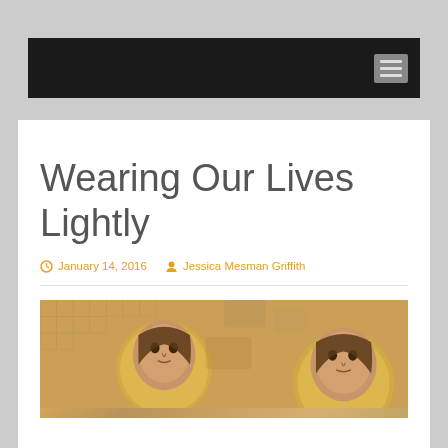Navigation bar with hamburger menu
Wearing Our Lives Lightly
January 14, 2016  Jessica Mesman Griffith
[Figure (photo): Religious mosaic artwork showing figures with halos on a gold/amber stone background, partially cropped]